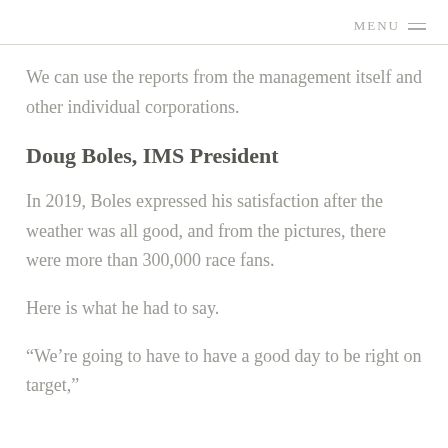MENU
We can use the reports from the management itself and other individual corporations.
Doug Boles, IMS President
In 2019, Boles expressed his satisfaction after the weather was all good, and from the pictures, there were more than 300,000 race fans.
Here is what he had to say.
“We’re going to have to have a good day to be right on target,”